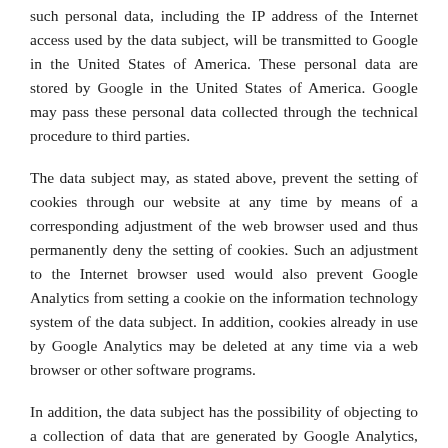such personal data, including the IP address of the Internet access used by the data subject, will be transmitted to Google in the United States of America. These personal data are stored by Google in the United States of America. Google may pass these personal data collected through the technical procedure to third parties.
The data subject may, as stated above, prevent the setting of cookies through our website at any time by means of a corresponding adjustment of the web browser used and thus permanently deny the setting of cookies. Such an adjustment to the Internet browser used would also prevent Google Analytics from setting a cookie on the information technology system of the data subject. In addition, cookies already in use by Google Analytics may be deleted at any time via a web browser or other software programs.
In addition, the data subject has the possibility of objecting to a collection of data that are generated by Google Analytics, which is related to the use of this website, as well as the processing of this data by Google and the chance to preclude any such. For this